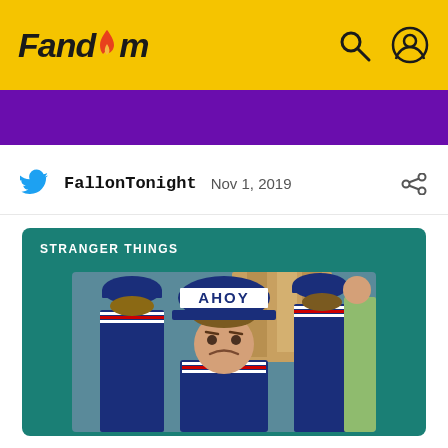Fandom
[Figure (screenshot): Purple banner/header image from a Fandom article page]
FallonTonight  Nov 1, 2019
STRANGER THINGS
[Figure (photo): Photo of a young man in a Scoops Ahoy sailor costume from Stranger Things, with an 'AHOY' hat, pouting expression, with two other people in the same costume visible from behind in the background]